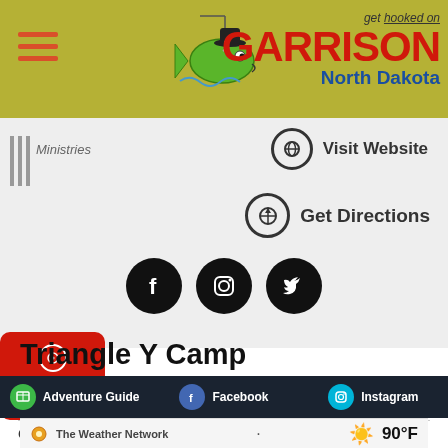[Figure (logo): Get Hooked on Garrison North Dakota logo with cartoon fish]
Ministries
Visit Website
Get Directions
[Figure (infographic): Social media icons: Facebook, Instagram, Twitter]
[Figure (illustration): GO BACK button (red rounded square)]
Triangle Y Camp
1251A 47th Ave SW
Operated in order to aid the development of character and Christian ethic, a love of life by providing activities and program in
Adventure Guide   Facebook   Instagram
The Weather Network   90°F